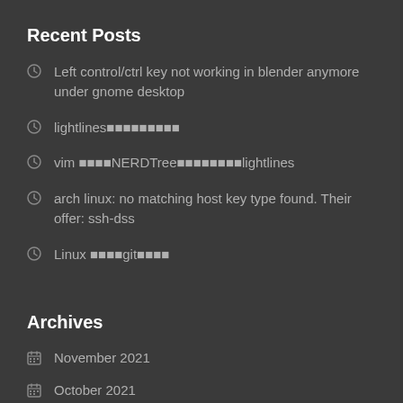Recent Posts
Left control/ctrl key not working in blender anymore under gnome desktop
lightlines■■■■■■■■■
vim ■■■■NERDTree■■■■■■■■lightlines
arch linux: no matching host key type found. Their offer: ssh-dss
Linux ■■■■git■■■■
Archives
November 2021
October 2021